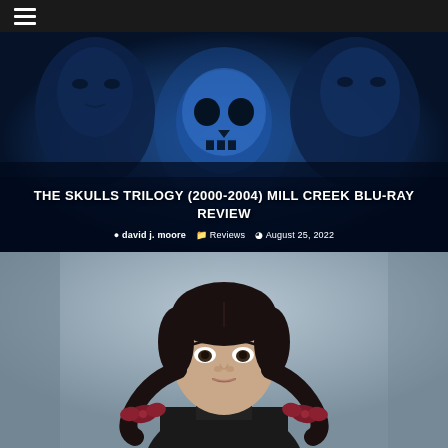☰ (hamburger menu)
[Figure (photo): Dark blue-tinted movie promotional image showing three figures: two men on either side and a large skull in the center. Text overlay reads 'THE SKULLS TRILOGY (2000-2004) MILL CREEK BLU-RAY REVIEW' with author 'david j. moore', category 'Reviews', and date 'August 25, 2022']
THE SKULLS TRILOGY (2000-2004) MILL CREEK BLU-RAY REVIEW
david j. moore   Reviews   August 25, 2022
[Figure (photo): A young woman with dark hair in pigtails tied with dark red/maroon bows, wearing a dark high-collared outfit, staring directly forward with a neutral expression against a grey background.]